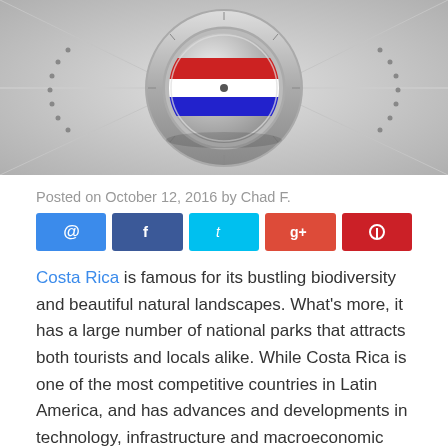[Figure (photo): Close-up of a metallic compass with a red, white, and blue striped flag design on the compass dial, set against a grey background.]
Posted on October 12, 2016 by Chad F.
[Figure (infographic): Row of five social sharing buttons: email (blue), Facebook (dark blue), Twitter (cyan), Google+ (orange-red), Pinterest (red), each with an icon.]
Costa Rica is famous for its bustling biodiversity and beautiful natural landscapes. What's more, it has a large number of national parks that attracts both tourists and locals alike. While Costa Rica is one of the most competitive countries in Latin America, and has advances and developments in technology, infrastructure and macroeconomic stability, a significant number of Costa